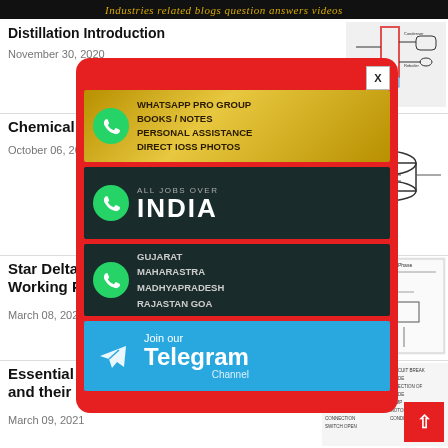Industries related blogs question answers videos
Distillation Introduction
November 30, 2020
[Figure (illustration): Distillation column diagram thumbnail]
Chemical Reactor
October 06, 2021
[Figure (illustration): Continuous-stirred tank reactor diagram with label]
[Figure (infographic): Popup advertisement with WhatsApp Pro Group promo (books/notes/personal assistance/direct IOSS photos), WhatsApp All Jobs Over India, WhatsApp Gujarat Maharashtra Madhyapradesh Rajastan Goa, and Join our Telegram Channel banners, with X close button]
Star Delta Starter: Working Principle
March 08, 2021
[Figure (engineering-diagram): Star Delta Starter wiring diagram thumbnail]
Essential Electronic Components and their Functions
March 09, 2021
[Figure (schematic): Electronic components schematic symbols thumbnail]